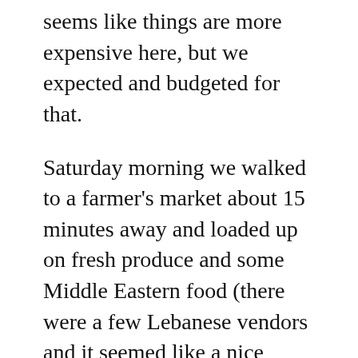seems like things are more expensive here, but we expected and budgeted for that.
Saturday morning we walked to a farmer's market about 15 minutes away and loaded up on fresh produce and some Middle Eastern food (there were a few Lebanese vendors and it seemed like a nice treat). After lunch we strapped our walking shoes back on and headed for a Monoprix, which is sort of a small department store. We needed some toiletries and other minor bits and bobs. It was about a 20 minute walk and the weather is beautiful, mid-70s and sunny.